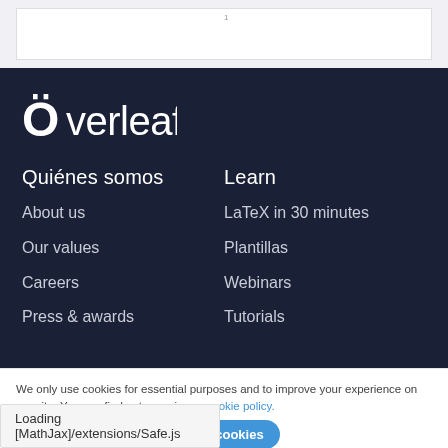[Figure (logo): Overleaf logo with leaf icon in white on dark background]
Quiénes somos
About us
Our values
Careers
Press & awards
Learn
LaTeX in 30 minutes
Plantillas
Webinars
Tutorials
We only use cookies for essential purposes and to improve your experience on our site. You can find out more in our cookie policy.
Loading [MathJax]/extensions/Safe.js